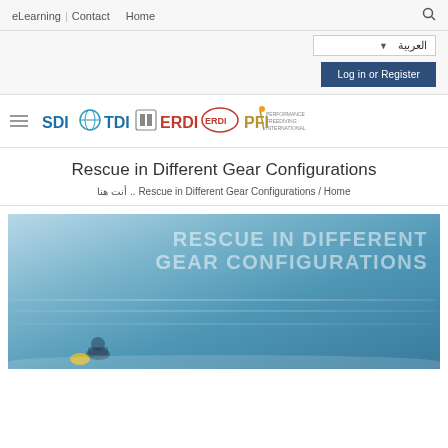eLearning | Contact  Home
العربية
Log in or Register
[Figure (logo): SDI / Global Diving / TDI / ERDI / ERDI / PFI Performance Freediving International logos]
Rescue in Different Gear Configurations
أنت هنا .. Home / Rescue in Different Gear Configurations
[Figure (photo): Hero image showing a diver in the ocean with text overlay: RESCUE IN DIFFERENT GEAR CONFIGURATIONS]